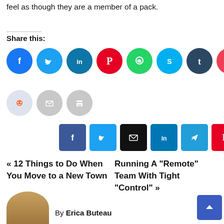feel as though they are a member of a pack.
Share this:
[Figure (infographic): Social share buttons row 1: Facebook (blue circle), Twitter (light blue circle), LinkedIn (teal circle), Pinterest (red circle), WhatsApp (green circle), Skype (cyan circle), Tumblr (dark blue circle), Pocket (red circle), Telegram (blue circle)]
[Figure (infographic): Social share buttons row 2: Reddit (light blue circle), Email (gray circle), Print (gray circle)]
[Figure (infographic): Square share buttons: Facebook (dark blue), Twitter (light blue), Email (black), LinkedIn (teal), Telegram (teal), Pinterest (red)]
« 12 Things to Do When You Move to a New Town
Running A “Remote” Team With Tight “Control” »
By Erica Buteau